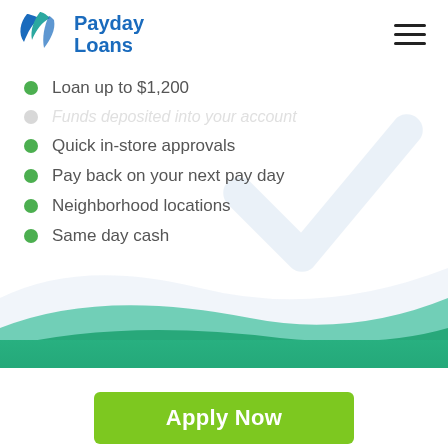[Figure (logo): Payday Loans logo with blue flame/leaf icon and text 'Payday Loans' in blue]
Loan up to $1,200
Funds deposited into your account
Quick in-store approvals
Pay back on your next pay day
Neighborhood locations
Same day cash
Apply Now
Applying does NOT affect your credit score!
No credit check to apply.